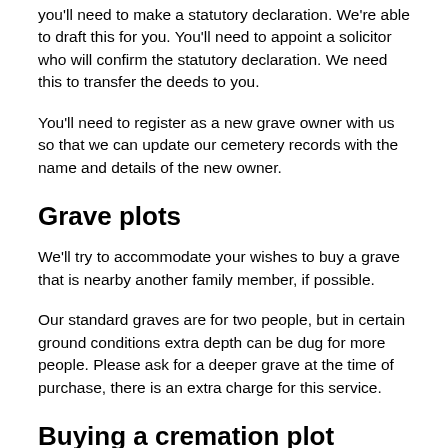you'll need to make a statutory declaration. We're able to draft this for you. You'll need to appoint a solicitor who will confirm the statutory declaration. We need this to transfer the deeds to you.
You'll need to register as a new grave owner with us so that we can update our cemetery records with the name and details of the new owner.
Grave plots
We'll try to accommodate your wishes to buy a grave that is nearby another family member, if possible.
Our standard graves are for two people, but in certain ground conditions extra depth can be dug for more people. Please ask for a deeper grave at the time of purchase, there is an extra charge for this service.
Buying a cremation plot
All of our cemeteries have plots available that will take up to four sets of cremated remains. We offer a range of smaller